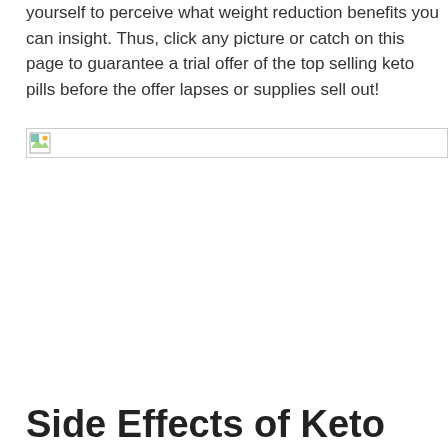yourself to perceive what weight reduction benefits you can insight. Thus, click any picture or catch on this page to guarantee a trial offer of the top selling keto pills before the offer lapses or supplies sell out!
[Figure (photo): Broken/missing image placeholder icon with border]
Side Effects of Keto